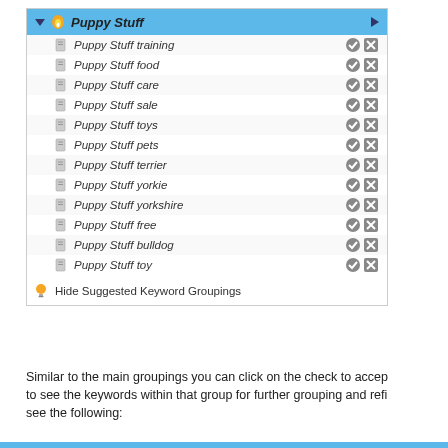[Figure (screenshot): A UI panel showing 'Puppy Stuff' keyword groupings list with sub-items: Puppy Stuff training, Puppy Stuff food, Puppy Stuff care, Puppy Stuff sale, Puppy Stuff toys, Puppy Stuff pets, Puppy Stuff terrier, Puppy Stuff yorkie, Puppy Stuff yorkshire, Puppy Stuff free, Puppy Stuff bulldog, Puppy Stuff toy. Each item has a check icon and an X icon. Below the list is a 'Hide Suggested Keyword Groupings' link with a lightbulb icon.]
Similar to the main groupings you can click on the check to accept to see the keywords within that group for further grouping and ref... see the following: